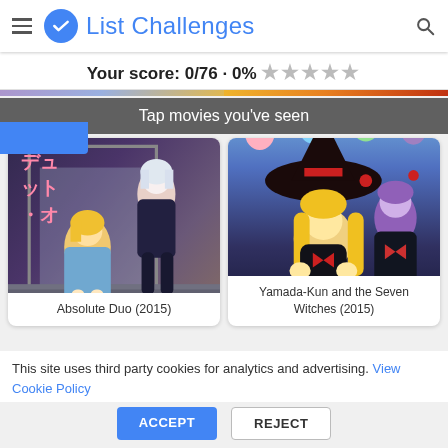List Challenges
Your score: 0/76 · 0% ★★★★★
Tap movies you've seen
[Figure (illustration): Anime cover art for Absolute Duo (2015) showing two anime characters, one blonde and one white-haired, in a stylized fantasy setting with Japanese text]
Absolute Duo (2015)
[Figure (illustration): Anime cover art for Yamada-Kun and the Seven Witches (2015) showing multiple anime characters in school uniforms]
Yamada-Kun and the Seven Witches (2015)
This site uses third party cookies for analytics and advertising. View Cookie Policy
ACCEPT
REJECT